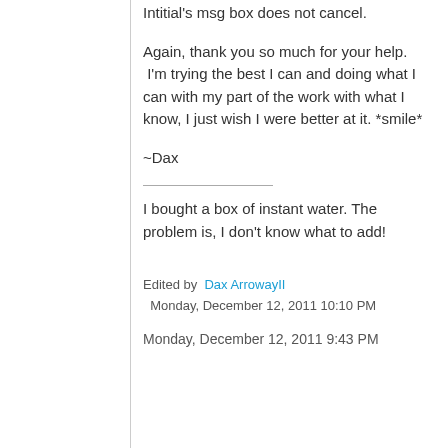Intitial's msg box does not cancel.
Again, thank you so much for your help. I'm trying the best I can and doing what I can with my part of the work with what I know, I just wish I were better at it. *smile*
~Dax
I bought a box of instant water. The problem is, I don't know what to add!
Edited by Dax ArrowayII Monday, December 12, 2011 10:10 PM
Monday, December 12, 2011 9:43 PM